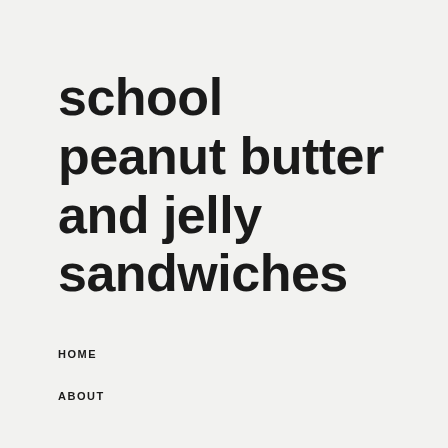school peanut butter and jelly sandwiches
HOME
ABOUT